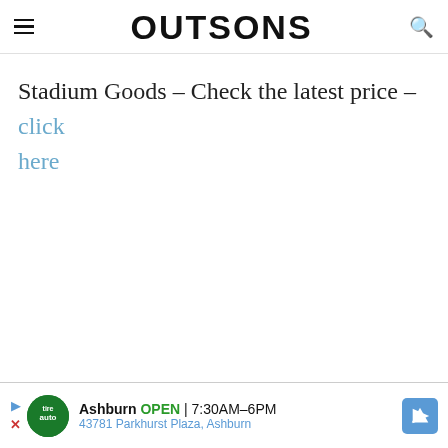OUTSONS
Stadium Goods – Check the latest price – click here
[Figure (other): Advertisement banner: Ashburn auto service, OPEN 7:30AM–6PM, 43781 Parkhurst Plaza, Ashburn]